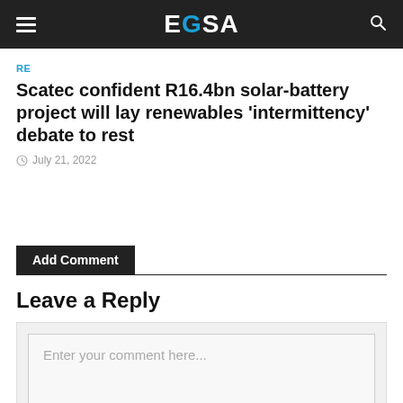EGSA
RE
Scatec confident R16.4bn solar-battery project will lay renewables ‘intermittency’ debate to rest
July 21, 2022
Add Comment
Leave a Reply
Enter your comment here...